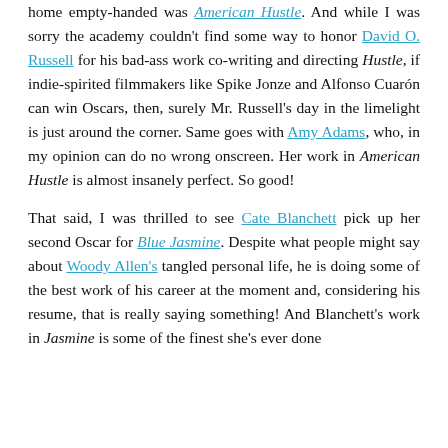home empty-handed was American Hustle. And while I was sorry the academy couldn't find some way to honor David O. Russell for his bad-ass work co-writing and directing Hustle, if indie-spirited filmmakers like Spike Jonze and Alfonso Cuarón can win Oscars, then, surely Mr. Russell's day in the limelight is just around the corner. Same goes with Amy Adams, who, in my opinion can do no wrong onscreen. Her work in American Hustle is almost insanely perfect. So good!

That said, I was thrilled to see Cate Blanchett pick up her second Oscar for Blue Jasmine. Despite what people might say about Woody Allen's tangled personal life, he is doing some of the best work of his career at the moment and, considering his resume, that is really saying something! And Blanchett's work in Jasmine is some of the finest she's ever done